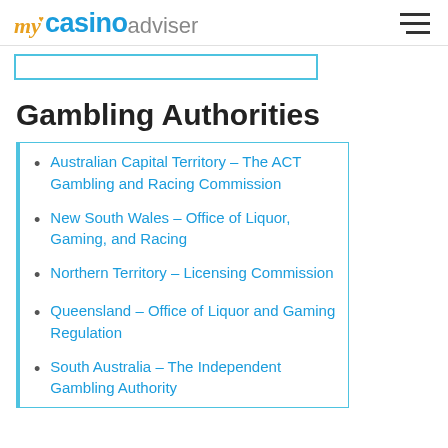my casino adviser
Gambling Authorities
Australian Capital Territory – The ACT Gambling and Racing Commission
New South Wales – Office of Liquor, Gaming, and Racing
Northern Territory – Licensing Commission
Queensland – Office of Liquor and Gaming Regulation
South Australia – The Independent Gambling Authority